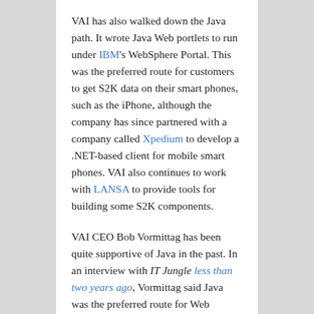VAI has also walked down the Java path. It wrote Java Web portlets to run under IBM's WebSphere Portal. This was the preferred route for customers to get S2K data on their smart phones, such as the iPhone, although the company has since partnered with a company called Xpedium to develop a .NET-based client for mobile smart phones. VAI also continues to work with LANSA to provide tools for building some S2K components.
VAI CEO Bob Vormittag has been quite supportive of Java in the past. In an interview with IT Jungle less than two years ago, Vormittag said Java was the preferred route for Web development for S2K. He also said VAI was considering a long-term plan to move whole hog from RPG to Java.